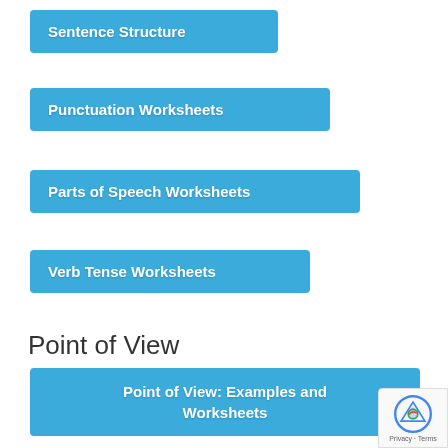Sentence Structure
Punctuation Worksheets
Parts of Speech Worksheets
Verb Tense Worksheets
Point of View
Point of View: Examples and Worksheets